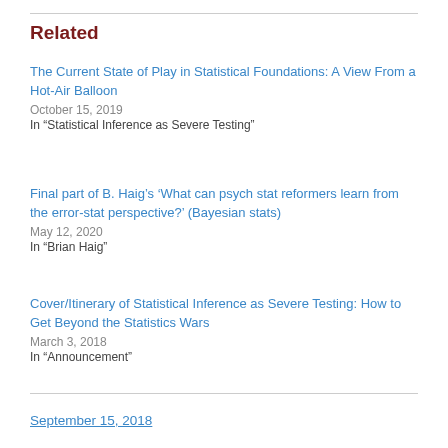Related
The Current State of Play in Statistical Foundations: A View From a Hot-Air Balloon
October 15, 2019
In “Statistical Inference as Severe Testing”
Final part of B. Haig’s ‘What can psych stat reformers learn from the error-stat perspective?’ (Bayesian stats)
May 12, 2020
In “Brian Haig”
Cover/Itinerary of Statistical Inference as Severe Testing: How to Get Beyond the Statistics Wars
March 3, 2018
In “Announcement”
September 15, 2018